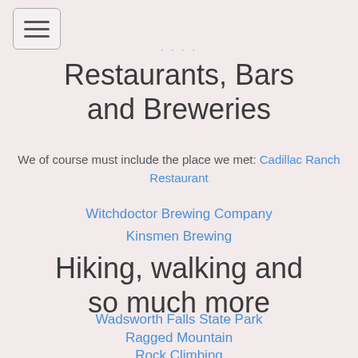· · · ·
Restaurants, Bars and Breweries
We of course must include the place we met: Cadillac Ranch Restaurant
Witchdoctor Brewing Company
Kinsmen Brewing
Hiking, walking and so much more
Wadsworth Falls State Park
Ragged Mountain
Rock Climbing
Hubbard Park & Castle Craig